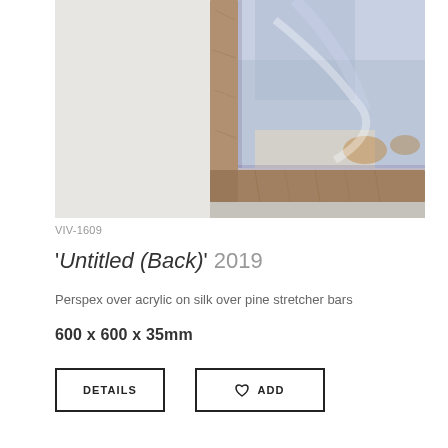[Figure (photo): Close-up photograph of the corner of a framed artwork showing a blue/lavender translucent Perspex panel with wooden stretcher bar frame, leaning against a white wall]
VIV-1609
'Untitled (Back)', 2019
Perspex over acrylic on silk over pine stretcher bars
600 x 600 x 35mm
DETAILS
♡ ADD